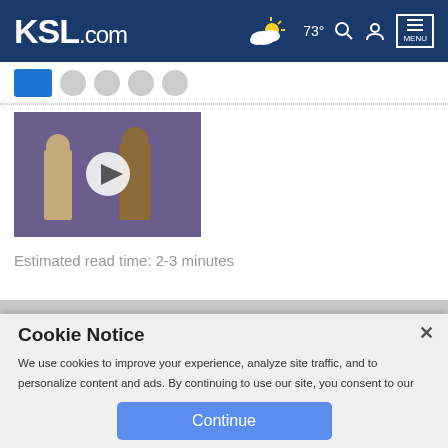KSL.com  73°  MENU
[Figure (screenshot): Video thumbnail showing two figures on a purple-toned stage with a play button overlay]
Estimated read time: 2-3 minutes
Cookie Notice

We use cookies to improve your experience, analyze site traffic, and to personalize content and ads. By continuing to use our site, you consent to our use of cookies. Please visit our Terms of Use and Privacy Policy for more information.

Continue